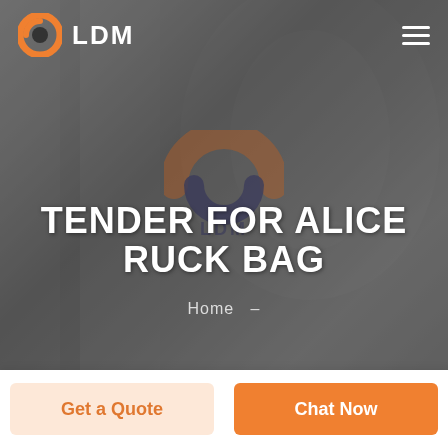[Figure (screenshot): Website hero section with grayscale photo of smiling man, LDM logo and hamburger menu in navbar, large watermark logo in center, bold white title 'TENDER FOR ALICE RUCK BAG', breadcrumb 'Home -', and two CTA buttons at bottom: 'Get a Quote' and 'Chat Now']
TENDER FOR ALICE RUCK BAG
Home  -
Get a Quote
Chat Now